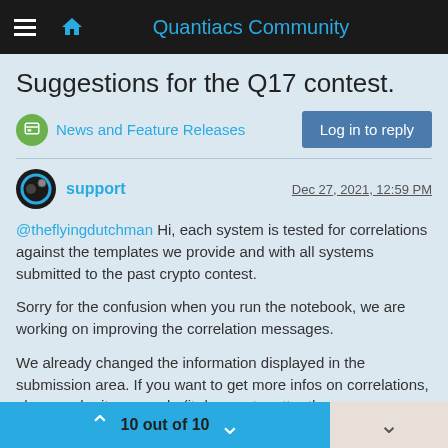Quantiacs Community
Suggestions for the Q17 contest.
News and Feature Releases
Log in to reply
support   Dec 27, 2021, 12:59 PM
@theflyingdutchman Hi, each system is tested for correlations against the templates we provide and with all systems submitted to the past crypto contest.
Sorry for the confusion when you run the notebook, we are working on improving the correlation messages.
We already changed the information displayed in the submission area. If you want to get more infos on correlations, please submit your code (it does not matter the message about correlations you get in the notebook, the system will be processed). After processing, the submission will appear in your submission area
10 out of 10